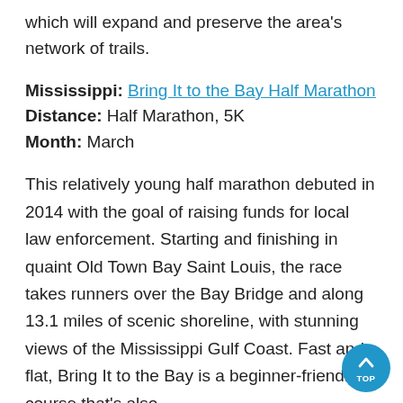which will expand and preserve the area's network of trails.
Mississippi: Bring It to the Bay Half Marathon
Distance: Half Marathon, 5K
Month: March
This relatively young half marathon debuted in 2014 with the goal of raising funds for local law enforcement. Starting and finishing in quaint Old Town Bay Saint Louis, the race takes runners over the Bay Bridge and along 13.1 miles of scenic shoreline, with stunning views of the Mississippi Gulf Coast. Fast and flat, Bring It to the Bay is a beginner-friendly course that's also